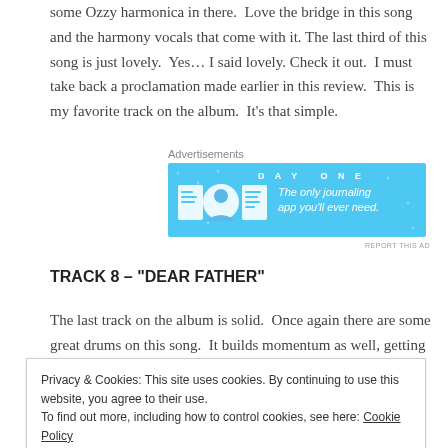some Ozzy harmonica in there.  Love the bridge in this song and the harmony vocals that come with it. The last third of this song is just lovely.  Yes… I said lovely. Check it out.  I must take back a proclamation made earlier in this review.  This is my favorite track on the album.  It's that simple.
[Figure (other): Advertisement for Day One journaling app. Shows 'Advertisements' label above a blue banner with DAY ONE text, three icons (notebook, person, notepad), and text: 'The only journaling app you'll ever need.' REPORT THIS AD link below.]
TRACK 8 – “DEAR FATHER”
The last track on the album is solid.  Once again there are some great drums on this song.  It builds momentum as well, getting more
Privacy & Cookies: This site uses cookies. By continuing to use this website, you agree to their use.
To find out more, including how to control cookies, see here: Cookie Policy
Close and accept
album in 2013.  I had my doubts if that was possible, and I am sure